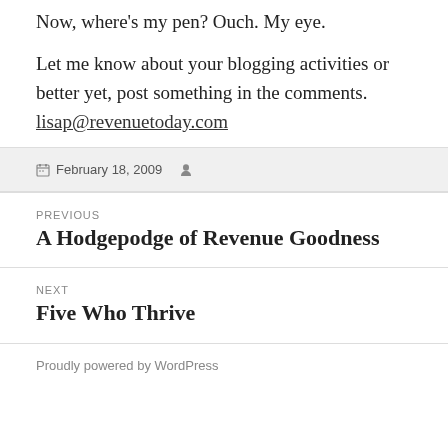Now, where's my pen? Ouch. My eye.
Let me know about your blogging activities or better yet, post something in the comments. lisap@revenuetoday.com
February 18, 2009
Previous Post: A Hodgepodge of Revenue Goodness
Next Post: Five Who Thrive
Proudly powered by WordPress